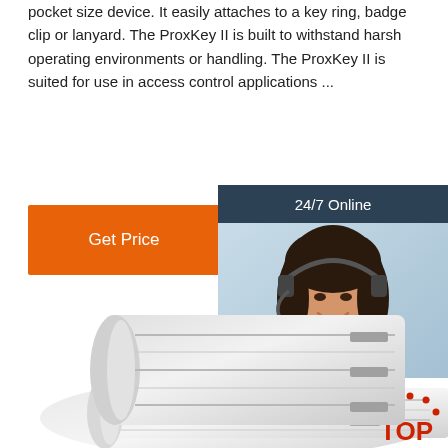pocket size device. It easily attaches to a key ring, badge clip or lanyard. The ProxKey II is built to withstand harsh operating environments or handling. The ProxKey II is suited for use in access control applications ...
[Figure (other): Orange 'Get Price' button]
[Figure (other): 24/7 Online chat widget with customer service representative photo, 'Click here for free chat!' text, and orange QUOTATION button]
[Figure (photo): Photo of a curved white RFID card/label roll product, with a red/orange TOP logo in the bottom right corner]